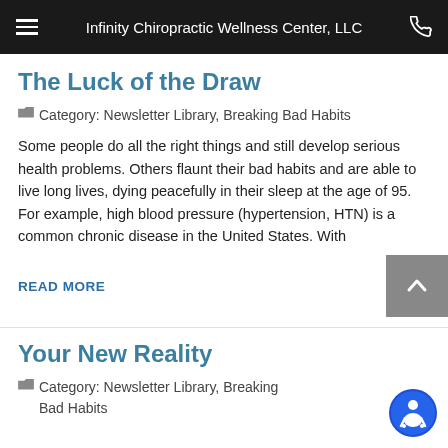Infinity Chiropractic Wellness Center, LLC
The Luck of the Draw
Category: Newsletter Library, Breaking Bad Habits
Some people do all the right things and still develop serious health problems. Others flaunt their bad habits and are able to live long lives, dying peacefully in their sleep at the age of 95. For example, high blood pressure (hypertension, HTN) is a common chronic disease in the United States. With
READ MORE
Your New Reality
Category: Newsletter Library, Breaking Bad Habits